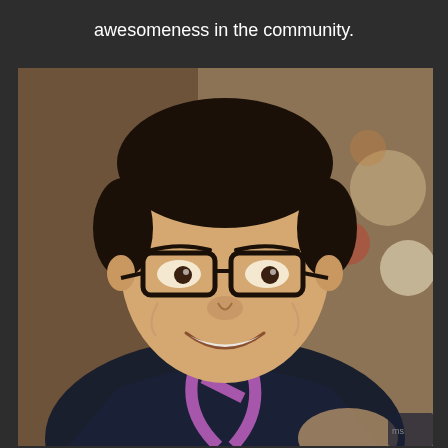awesomeness in the community.
[Figure (photo): Portrait photo of a smiling Asian man wearing black-framed glasses, a dark navy hoodie, and a purple/pink lanyard. The background is blurred with warm tones and bokeh light spots. The man appears cheerful and is making a hand gesture.]